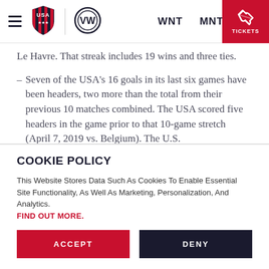USA Soccer — WNT  MNT  TICKETS
Le Havre. That streak includes 19 wins and three ties.
Seven of the USA's 16 goals in its last six games have been headers, two more than the total from their previous 10 matches combined. The USA scored five headers in the game prior to that 10-game stretch (April 7, 2019 vs. Belgium). The U.S. has scored 21 goals from set pieces in 2019.
COOKIE POLICY
This Website Stores Data Such As Cookies To Enable Essential Site Functionality, As Well As Marketing, Personalization, And Analytics. FIND OUT MORE.